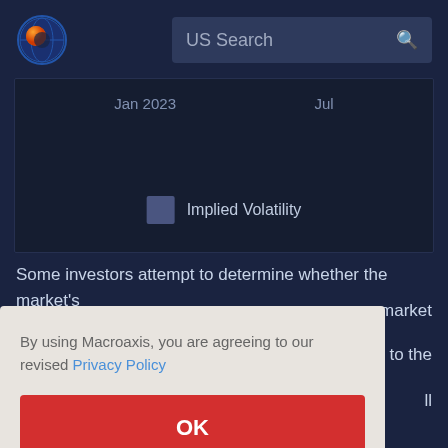[Figure (screenshot): Macroaxis website header with logo and US Search bar]
[Figure (other): Partial chart area showing axis labels 'Jan 2023' and 'Jul' with an Implied Volatility legend item]
Implied Volatility
Some investors attempt to determine whether the market's market to the ll ase, ools to gauge market sentiment could be utilized using contrarian
By using Macroaxis, you are agreeing to our revised Privacy Policy
OK